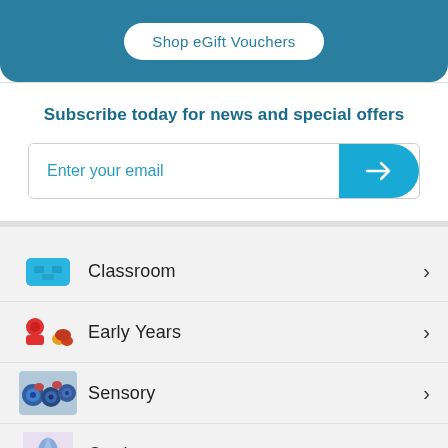[Figure (other): Blue rounded banner with a 'Shop eGift Vouchers' white pill button]
Subscribe today for news and special offers
[Figure (other): Email subscription input field with a teal arrow submit button]
Classroom
Early Years
Sensory
Outdoor